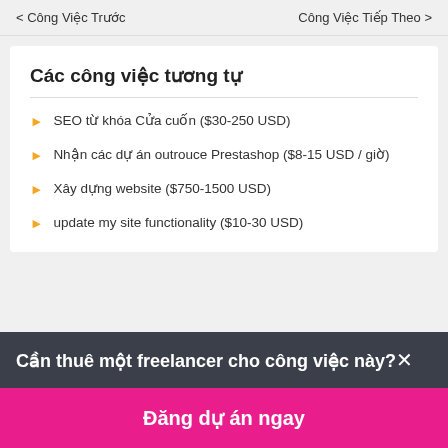< Công Việc Trước    Công Việc Tiếp Theo >
Các công việc tương tự
SEO từ khóa Cửa cuốn ($30-250 USD)
Nhận các dự án outrouce Prestashop ($8-15 USD / giờ)
Xây dựng website ($750-1500 USD)
update my site functionality ($10-30 USD)
Cần thuê một freelancer cho công việc này?✕
Đăng dự án ngay